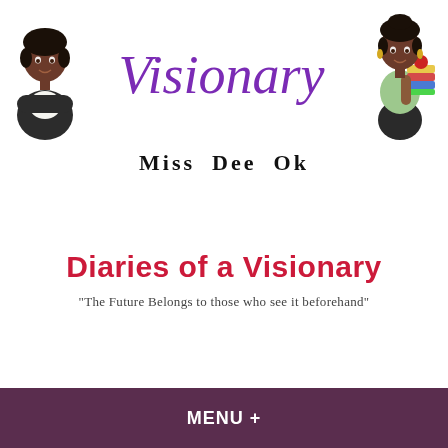[Figure (illustration): Illustrated woman in business attire on the left side of header]
Visionary
[Figure (illustration): Illustrated woman holding books with apple on top on the right side of header]
Miss Dee Ok
Diaries of a Visionary
"The Future Belongs to those who see it beforehand"
MENU +